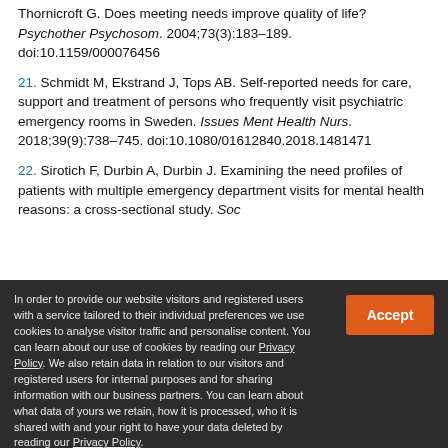Thornicroft G. Does meeting needs improve quality of life? Psychother Psychosom. 2004;73(3):183–189. doi:10.1159/000076456
21. Schmidt M, Ekstrand J, Tops AB. Self-reported needs for care, support and treatment of persons who frequently visit psychiatric emergency rooms in Sweden. Issues Ment Health Nurs. 2018;39(9):738–745. doi:10.1080/01612840.2018.1481471
22. Sirotich F, Durbin A, Durbin J. Examining the need profiles of patients with multiple emergency department visits for mental health reasons: a cross-sectional study. Soc
In order to provide our website visitors and registered users with a service tailored to their individual preferences we use cookies to analyse visitor traffic and personalise content. You can learn about our use of cookies by reading our Privacy Policy. We also retain data in relation to our visitors and registered users for internal purposes and for sharing information with our business partners. You can learn about what data of yours we retain, how it is processed, who it is shared with and your right to have your data deleted by reading our Privacy Policy. If you agree to our use of cookies and the contents of our Privacy Policy please click 'accept'.